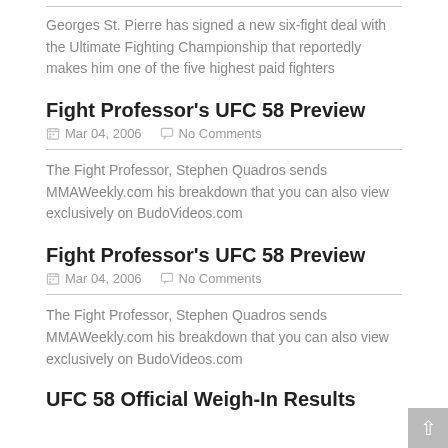Georges St. Pierre has signed a new six-fight deal with the Ultimate Fighting Championship that reportedly makes him one of the five highest paid fighters
Fight Professor's UFC 58 Preview
Mar 04, 2006  No Comments
The Fight Professor, Stephen Quadros sends MMAWeekly.com his breakdown that you can also view exclusively on BudoVideos.com
Fight Professor's UFC 58 Preview
Mar 04, 2006  No Comments
The Fight Professor, Stephen Quadros sends MMAWeekly.com his breakdown that you can also view exclusively on BudoVideos.com
UFC 58 Official Weigh-In Results